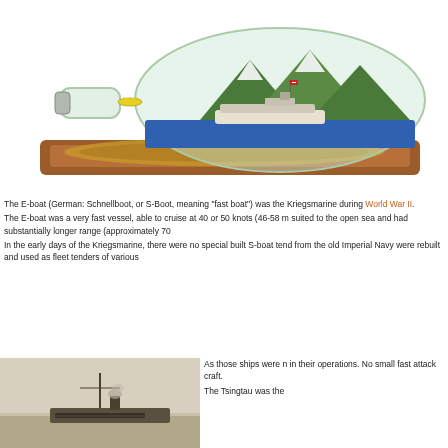[Figure (photo): A ship-in-a-bottle diorama mounted on a wooden base with a thick rope coil, showing a miniature naval vessel inside a large glass bottle with mountain scenery]
The E-boat (German: Schnellboot, or S-Boot, meaning "fast boat") was the Kriegsmarine during World War II. The E-boat was a very fast vessel, able to cruise at 40 or 50 knots (46-58 m suited to the open sea and had substantially longer range (approximately 70 In the early days of the Kriegsmarine, there were no special built S-boat tend from the old Imperial Navy were rebuilt and used as fleet tenders of various
[Figure (photo): A black and white historical photograph of a naval vessel at sea, showing a ship's mast and superstructure]
As those ships were n in their operations. No small fast attack craft. The Tsingtau was the